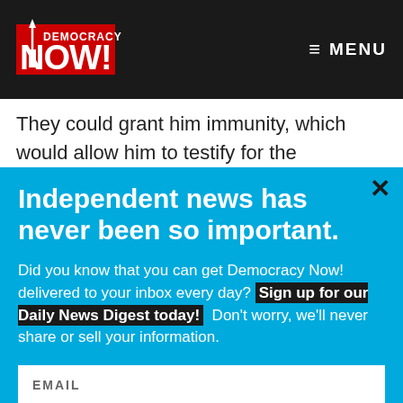Democracy Now! — MENU
They could grant him immunity, which would allow him to testify for the prosecution. But, of course, we know that
Independent news has never been so important.
Did you know that you can get Democracy Now! delivered to your inbox every day? Sign up for our Daily News Digest today! Don't worry, we'll never share or sell your information.
EMAIL
SIGN UP!